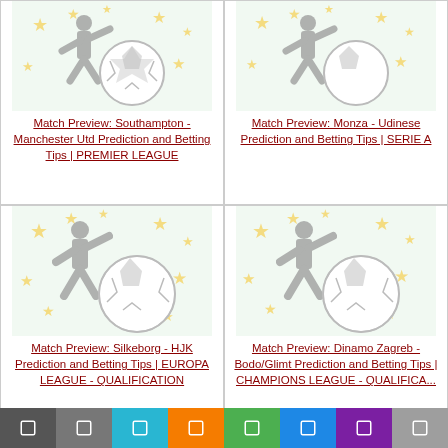[Figure (illustration): Soccer/football themed illustration with player silhouette, ball, and stars - top left card (partially visible)]
Match Preview: Southampton - Manchester Utd Prediction and Betting Tips | PREMIER LEAGUE
[Figure (illustration): Soccer/football themed illustration with player silhouette, ball, and stars - top right card (partially visible)]
Match Preview: Monza - Udinese Prediction and Betting Tips | SERIE A
[Figure (illustration): Soccer/football themed illustration with player silhouette, ball, and stars - bottom left card]
Match Preview: Silkeborg - HJK Prediction and Betting Tips | EUROPA LEAGUE - QUALIFICATION
[Figure (illustration): Soccer/football themed illustration with player silhouette, ball, and stars - bottom right card]
Match Preview: Dinamo Zagreb - Bodo/Glimt Prediction and Betting Tips | CHAMPIONS LEAGUE - QUALIFICA...